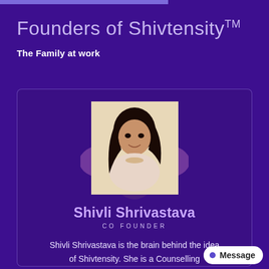Founders of Shivtensity™
The Family at work
[Figure (photo): Profile photo of Shivli Shrivastava, a young woman with long dark hair, smiling, wearing a light pink top with a statement necklace, set against a beige background. Behind the photo is a decorative owl graphic in purple/teal colors.]
Shivli Shrivastava
CO FOUNDER
Shivli Shrivastava is the brain behind the idea of Shivtensity. She is a Counselling